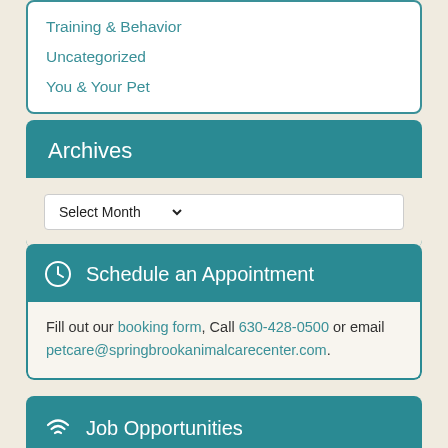Training & Behavior
Uncategorized
You & Your Pet
Archives
Select Month
Schedule an Appointment
Fill out our booking form, Call 630-428-0500 or email petcare@springbrookanimalcarecenter.com.
Job Opportunities